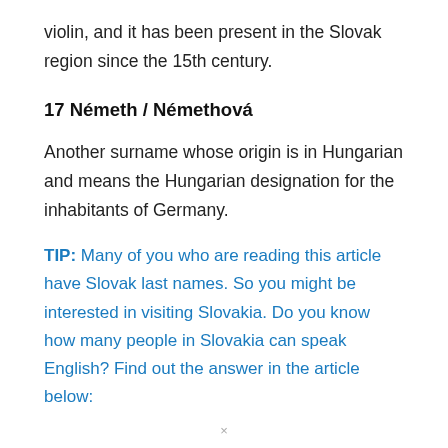violin, and it has been present in the Slovak region since the 15th century.
17 Németh / Némethová
Another surname whose origin is in Hungarian and means the Hungarian designation for the inhabitants of Germany.
TIP: Many of you who are reading this article have Slovak last names. So you might be interested in visiting Slovakia. Do you know how many people in Slovakia can speak English? Find out the answer in the article below:
×